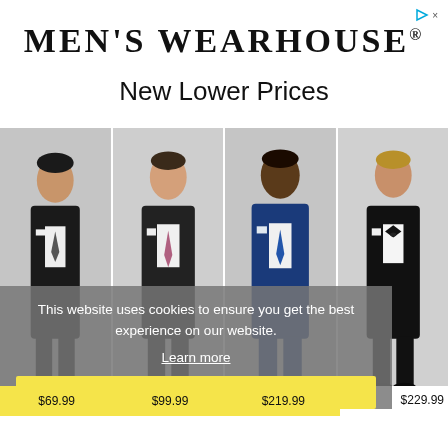[Figure (logo): Men's Wearhouse logo and ad icon in top right corner]
MEN'S WEARHOUSE®
New Lower Prices
[Figure (photo): Four men wearing suits: black suit, dark suit, blue suit, black tuxedo with bow tie, displayed side by side]
This website uses cookies to ensure you get the best experience on our website.
Learn more
Got it!
$69.99
$99.99
$219.99
$229.99